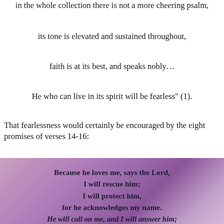in the whole collection there is not a more cheering psalm,
its tone is elevated and sustained throughout,
faith is at its best, and speaks nobly…
He who can live in its spirit will be fearless" (1).
That fearlessness would certainly be encouraged by the eight promises of verses 14-16:
[Figure (photo): Purple/pink cloudy background image with bold italic text of Psalm verses: 'Because he loves me, says the Lord, I will rescue him; I will protect him, for he acknowledges my name. He will call on me, and I will answer him; I will be with him in trouble, I will deliver him and honor him.']